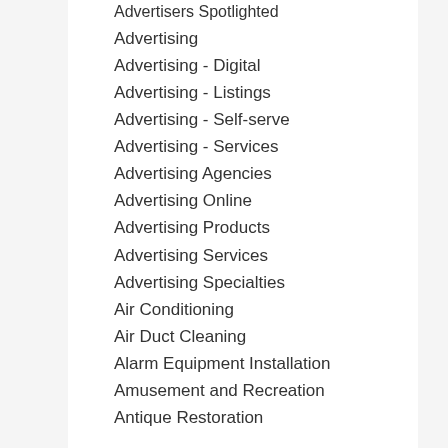Advertisers Spotlighted
Advertising
Advertising - Digital
Advertising - Listings
Advertising - Self-serve
Advertising - Services
Advertising Agencies
Advertising Online
Advertising Products
Advertising Services
Advertising Specialties
Air Conditioning
Air Duct Cleaning
Alarm Equipment Installation
Amusement and Recreation
Antique Restoration